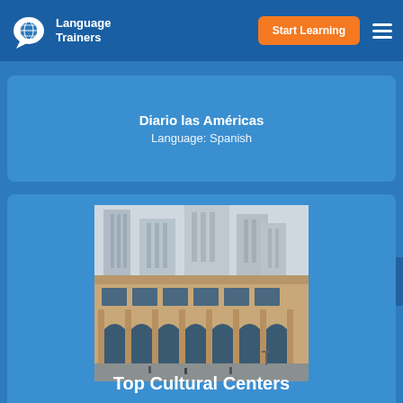Language Trainers
Diario las Américas
Language: Spanish
[Figure (photo): Photograph of a classical stone building with arched windows and columns, with modern skyscrapers visible behind it.]
Top Cultural Centers